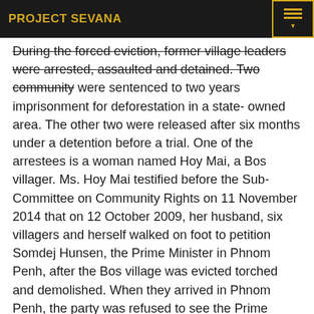PROJECT SEVANA
During the forced eviction, former village leaders were arrested, assaulted and detained. Two community were sentenced to two years imprisonment for deforestation in a state- owned area. The other two were released after six months under a detention before a trial. One of the arrestees is a woman named Hoy Mai, a Bos villager. Ms. Hoy Mai testified before the Sub-Committee on Community Rights on 11 November 2014 that on 12 October 2009, her husband, six villagers and herself walked on foot to petition Somdej Hunsen, the Prime Minister in Phnom Penh, after the Bos village was evicted torched and demolished. When they arrived in Phnom Penh, the party was refused to see the Prime Minister, thus they camped out at night in an ancient pagoda in the heart of Phnom Penh City. At night, the police arrested them, while other people and Ms. Hoy Mai's husband could escaped, she was arrested and criminally charged for violating a forestry law. She was transferred to a prison in Siem Reap Province while she was five months pregnant at the time.